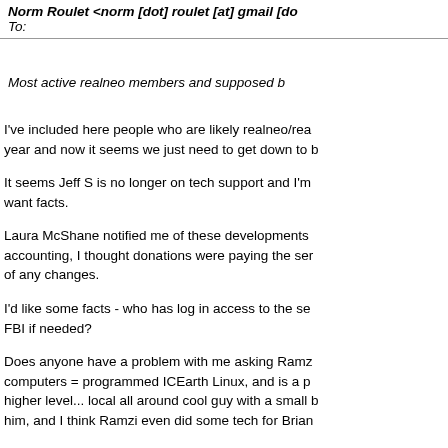Norm Roulet <norm [dot] roulet [at] gmail [do...
To:
Most active realneo members and supposed b...
I've included here people who are likely realneo/rea... year and now it seems we just need to get down to b...
It seems Jeff S is no longer on tech support and I'm... want facts.
Laura McShane notified me of these developments... accounting, I thought donations were paying the ser... of any changes.
I'd like some facts - who has log in access to the se... FBI if needed?
Does anyone have a problem with me asking Ramz... computers = programmed ICEarth Linux, and is a p... higher level... local all around cool guy with a small b... him, and I think Ramzi even did some tech for Brian...
I'll work out something to pay him if there are any ac... coop than we currently pay, which I believe is aroun... do from there.